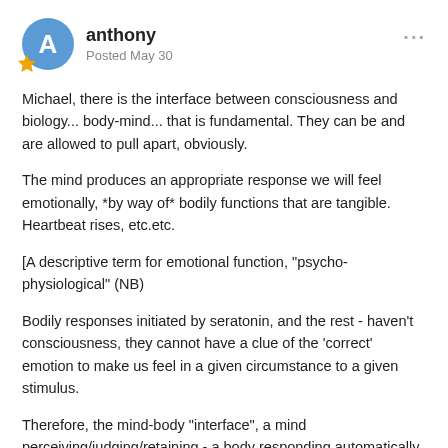anthony
Posted May 30
Michael, there is the interface between consciousness and biology... body-mind... that is fundamental. They can be and are allowed to pull apart, obviously.
The mind produces an appropriate response we will feel emotionally, *by way of* bodily functions that are tangible. Heartbeat rises, etc.etc.
[A descriptive term for emotional function, "psycho-physiological" (NB)
Bodily responses initiated by seratonin, and the rest - haven't consciousness, they cannot have a clue of the 'correct' emotion to make us feel in a given circumstance to a given stimulus.
Therefore, the mind-body "interface", a mind perceiving/judging/retaining - a body responding automatically to those prejudgments made: pain-pleasure, good/bad for me.
One even can identify instantly the type of emotion felt and its